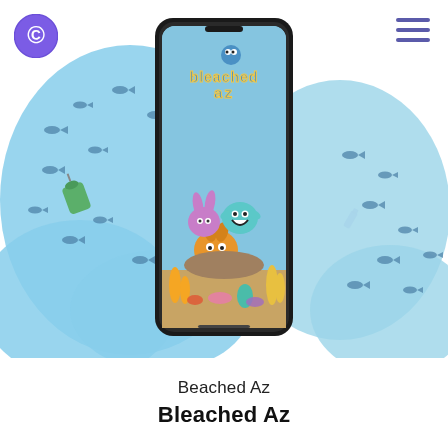[Figure (screenshot): App screenshot showing 'Bleached Az' underwater cartoon game with colorful coral reef characters on a smartphone, surrounded by illustrated ocean background with fish and coral]
Beached Az
Bleached Az